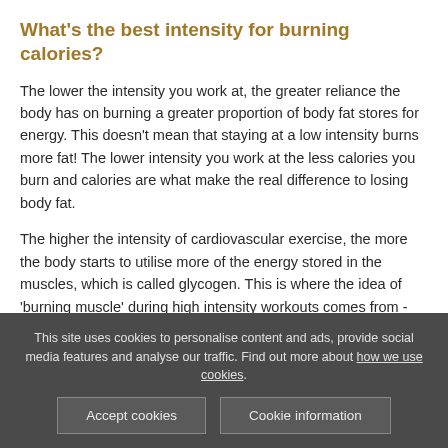What's the best intensity for burning calories?
The lower the intensity you work at, the greater reliance the body has on burning a greater proportion of body fat stores for energy. This doesn't mean that staying at a low intensity burns more fat! The lower intensity you work at the less calories you burn and calories are what make the real difference to losing body fat.
The higher the intensity of cardiovascular exercise, the more the body starts to utilise more of the energy stored in the muscles, which is called glycogen. This is where the idea of 'burning muscle' during high intensity workouts comes from - but it's not true! You use muscle stores but these are replenished post-workout and using greater amounts of these
This site uses cookies to personalise content and ads, provide social media features and analyse our traffic. Find out more about how we use cookies.
Accept cookies
Cookie information